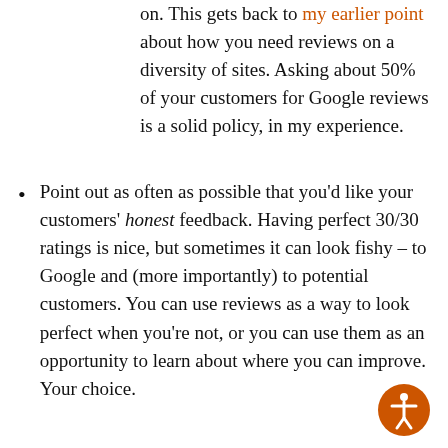on.  This gets back to my earlier point about how you need reviews on a diversity of sites.  Asking about 50% of your customers for Google reviews is a solid policy, in my experience.
Point out as often as possible that you'd like your customers' honest feedback.  Having perfect 30/30 ratings is nice, but sometimes it can look fishy – to Google and (more importantly) to potential customers.  You can use reviews as a way to look perfect when you're not, or you can use them as an opportunity to learn about where you can improve.  Your choice.